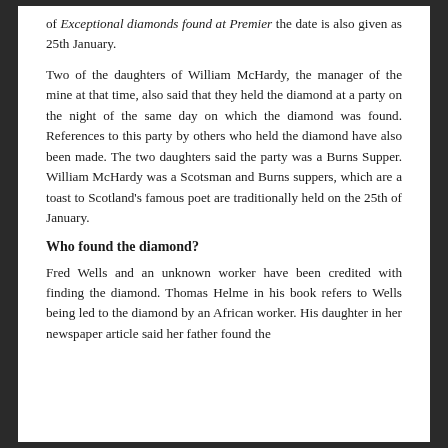of Exceptional diamonds found at Premier the date is also given as 25th January.
Two of the daughters of William McHardy, the manager of the mine at that time, also said that they held the diamond at a party on the night of the same day on which the diamond was found. References to this party by others who held the diamond have also been made. The two daughters said the party was a Burns Supper. William McHardy was a Scotsman and Burns suppers, which are a toast to Scotland's famous poet are traditionally held on the 25th of January.
Who found the diamond?
Fred Wells and an unknown worker have been credited with finding the diamond. Thomas Helme in his book refers to Wells being led to the diamond by an African worker. His daughter in her newspaper article said her father found the